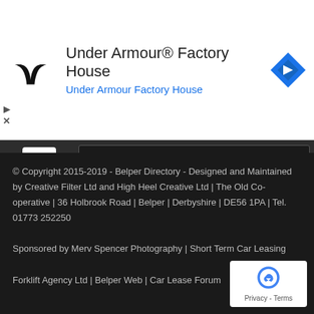[Figure (logo): Under Armour logo (black stylized UA icon) and navigation arrow icon (blue diamond shape with white arrow)]
Under Armour® Factory House
Under Armour Factory House
Mortgage and Finance Arena Ltd – Residential, Business, Development, Buy to Let and Commercial Finance and Protection
Financial Advisers
[Figure (infographic): Star rating: 2.5 out of 5 stars (3 filled gold stars, 2 empty/outline stars)]
© Copyright 2015-2019 - Belper Directory - Designed and Maintained by Creative Filter Ltd and High Heel Creative Ltd | The Old Co-operative | 36 Holbrook Road | Belper | Derbyshire | DE56 1PA | Tel. 01773 252250 Sponsored by Merv Spencer Photography | Short Term Car Leasing Forklift Agency Ltd | Belper Web | Car Lease Forum